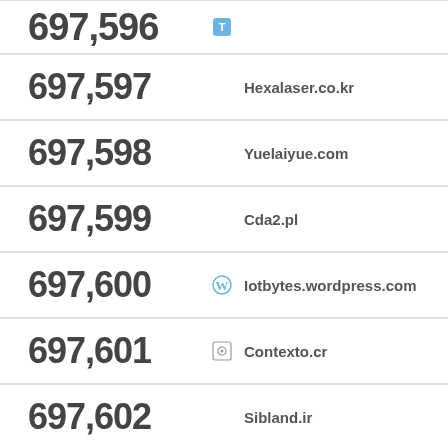| Rank | Domain |
| --- | --- |
| 697,596 |  |
| 697,597 | Hexalaser.co.kr |
| 697,598 | Yuelaiyue.com |
| 697,599 | Cda2.pl |
| 697,600 | Iotbytes.wordpress.com |
| 697,601 | Contexto.cr |
| 697,602 | Sibland.ir |